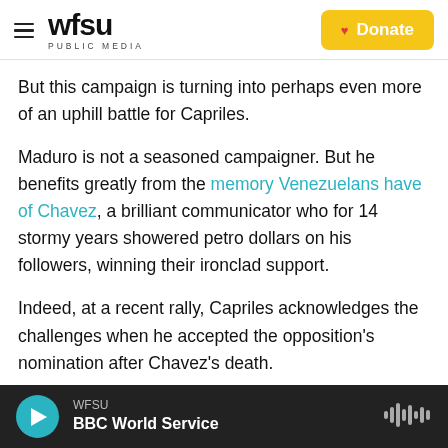WFSU PUBLIC MEDIA | Donate
But this campaign is turning into perhaps even more of an uphill battle for Capriles.
Maduro is not a seasoned campaigner. But he benefits greatly from the memory Venezuelans have of Chavez, a brilliant communicator who for 14 stormy years showered petro dollars on his followers, winning their ironclad support.
Indeed, at a recent rally, Capriles acknowledges the challenges when he accepted the opposition's nomination after Chavez's death.
WFSU – BBC World Service